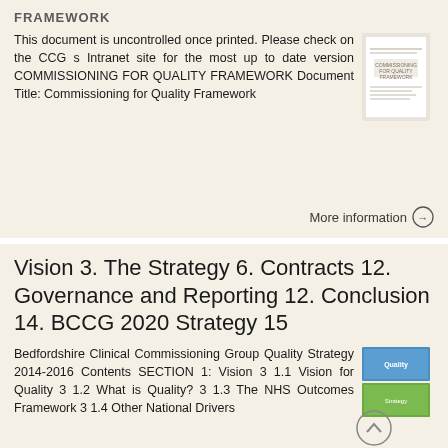FRAMEWORK
This document is uncontrolled once printed. Please check on the CCG s Intranet site for the most up to date version COMMISSIONING FOR QUALITY FRAMEWORK Document Title: Commissioning for Quality Framework
More information →
Vision 3. The Strategy 6. Contracts 12. Governance and Reporting 12. Conclusion 14. BCCG 2020 Strategy 15
Bedfordshire Clinical Commissioning Group Quality Strategy 2014-2016 Contents SECTION 1: Vision 3 1.1 Vision for Quality 3 1.2 What is Quality? 3 1.3 The NHS Outcomes Framework 3 1.4 Other National Drivers
More information →